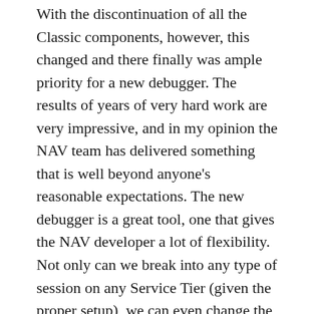With the discontinuation of all the Classic components, however, this changed and there finally was ample priority for a new debugger. The results of years of very hard work are very impressive, and in my opinion the NAV team has delivered something that is well beyond anyone's reasonable expectations. The new debugger is a great tool, one that gives the NAV developer a lot of flexibility. Not only can we break into any type of session on any Service Tier (given the proper setup), we can even change the appearance of the debugger, and customize it to our own personal preferences.
This is another one of those things that I've been very anxious to share, and I am very happy that I finally had an opportunity to write about it.